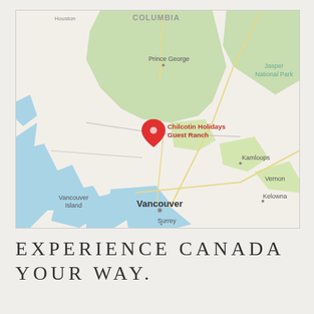[Figure (map): Google Maps screenshot showing British Columbia, Canada. A red location pin marks 'Chilcotin Holidays Guest Ranch'. Visible place names include COLUMBIA, Houston, Prince George, Jasper National Park, Kamloops, Vernon, Kelowna, Vancouver Island, Vancouver, Surrey. Green regions indicate forests/parks and blue areas indicate water bodies.]
EXPERIENCE CANADA YOUR WAY.